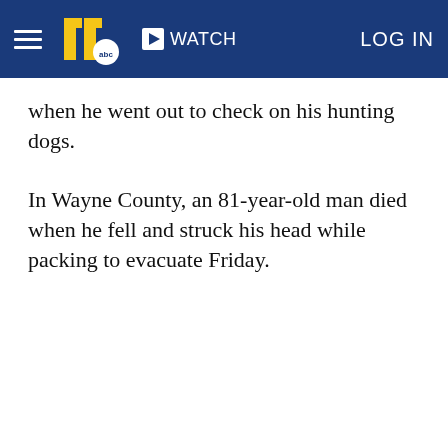WATCH  LOG IN
when he went out to check on his hunting dogs.
In Wayne County, an 81-year-old man died when he fell and struck his head while packing to evacuate Friday.